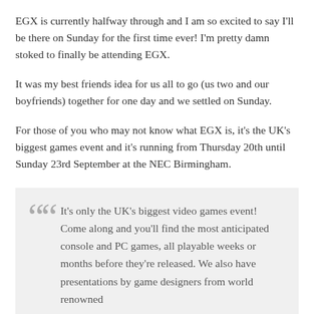EGX is currently halfway through and I am so excited to say I'll be there on Sunday for the first time ever! I'm pretty damn stoked to finally be attending EGX.
It was my best friends idea for us all to go (us two and our boyfriends) together for one day and we settled on Sunday.
For those of you who may not know what EGX is, it's the UK's biggest games event and it's running from Thursday 20th until Sunday 23rd September at the NEC Birmingham.
It's only the UK's biggest video games event! Come along and you'll find the most anticipated console and PC games, all playable weeks or months before they're released. We also have presentations by game designers from world renowned